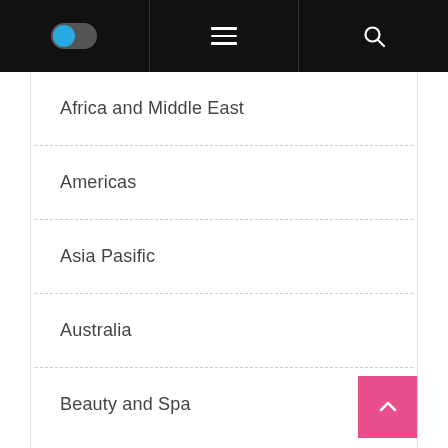Navigation bar with toggle, hamburger menu, and search icon
Africa and Middle East
Americas
Asia Pasific
Australia
Beauty and Spa